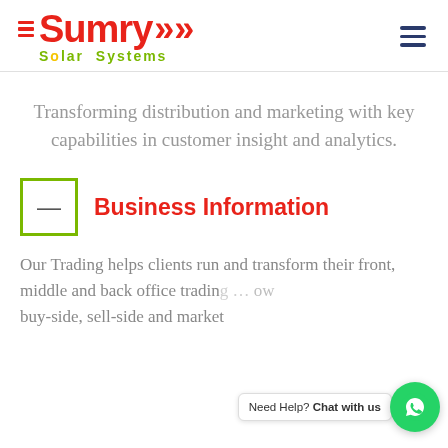[Figure (logo): Sumry Solar Systems logo: red hamburger menu icon, red 'Sumry' text with red double chevron arrows, green 'Solar Systems' text with yellow dot in 'Solar']
Transforming distribution and marketing with key capabilities in customer insight and analytics.
Business Information
Our Trading helps clients run and transform their front, middle and back office trading … buy-side, sell-side and market
[Figure (other): WhatsApp chat widget: white bubble with 'Need Help? Chat with us' text and green WhatsApp circle button]